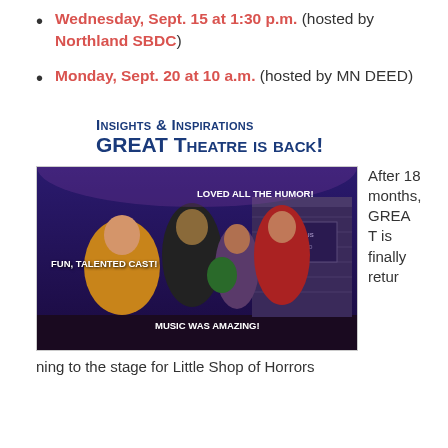Wednesday, Sept. 15 at 1:30 p.m. (hosted by Northland SBDC)
Monday, Sept. 20 at 10 a.m. (hosted by MN DEED)
Insights & Inspirations
GREAT Theatre is back!
[Figure (photo): Theatre cast photo on stage for Little Shop of Horrors with overlay text: FUN, TALENTED CAST!, LOVED ALL THE HUMOR!, MUSIC WAS AMAZING!]
After 18 months, GREAT is finally retur
ning to the stage for Little Shop of Horrors